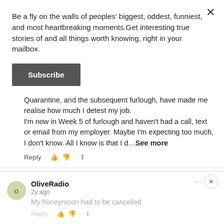Be a fly on the walls of peoples' biggest, oddest, funniest, and most heartbreaking moments.Get interesting true stories of and all things worth knowing, right in your mailbox.
Subscribe
Quarantine, and the subsequent furlough, have made me realise how much I detest my job.
I'm now in Week 5 of furlough and haven't had a call, text or email from my employer. Maybe I'm expecting too much, I don't know. All I know is that I d…See more
Reply
OliveRadio
2y ago
My honeymoon had to be cancelled
Reply